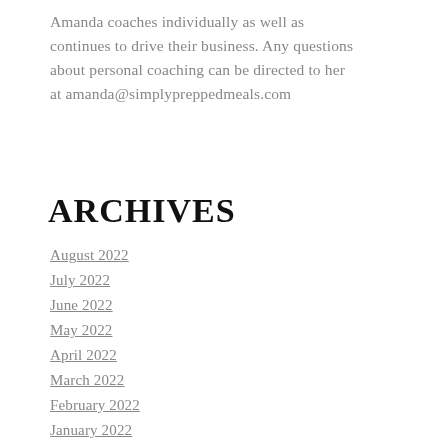Amanda coaches individually as well as continues to drive their business. Any questions about personal coaching can be directed to her at amanda@simplypreppedmeals.com
ARCHIVES
August 2022
July 2022
June 2022
May 2022
April 2022
March 2022
February 2022
January 2022
December 2021
November 2021